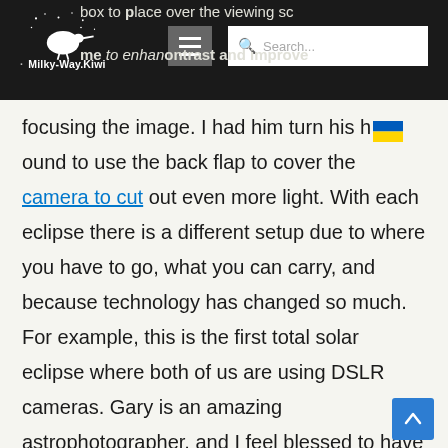Milky-Way.Kiwi website header with logo, hamburger menu, and search bar
box to place over the viewing sc... ...me... to enhan... ontrast and improve focusing the image. I had him turn his h[Ukraine flag]ound to use the back flap to cover the camera to cut out even more light. With each eclipse there is a different setup due to where you have to go, what you can carry, and because technology has changed so much. For example, this is the first total solar eclipse where both of us are using DSLR cameras. Gary is an amazing astrophotographer, and I feel blessed to have his advice on imaging and processing.